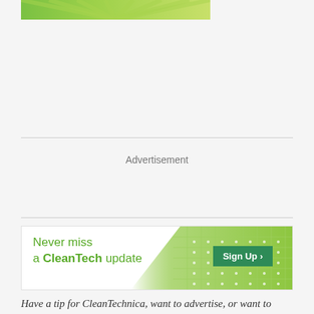[Figure (photo): Partial green image at top of page, appears to be solar panel or plant-related imagery with green colors]
Advertisement
[Figure (infographic): CleanTech newsletter signup banner with solar panel imagery and green text reading 'Never miss a CleanTech update' with a green Sign Up button]
Have a tip for CleanTechnica, want to advertise, or want to suggest a guest for our CleanTech Talk